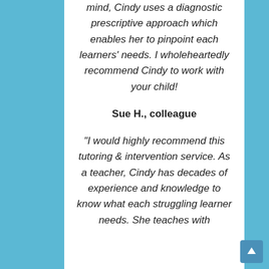mind, Cindy uses a diagnostic prescriptive approach which enables her to pinpoint each learners' needs. I wholeheartedly recommend Cindy to work with your child!
Sue H., colleague
"I would highly recommend this tutoring & intervention service. As a teacher, Cindy has decades of experience and knowledge to know what each struggling learner needs. She teaches with